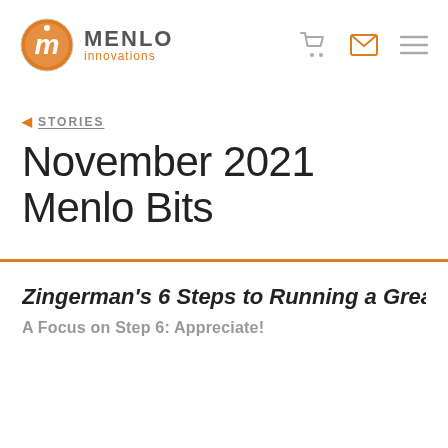Menlo Innovations — navigation header with logo, cart icon, email icon, and menu icon
◀ STORIES
November 2021 Menlo Bits
Zingerman's 6 Steps to Running a Grea
A Focus on Step 6: Appreciate!